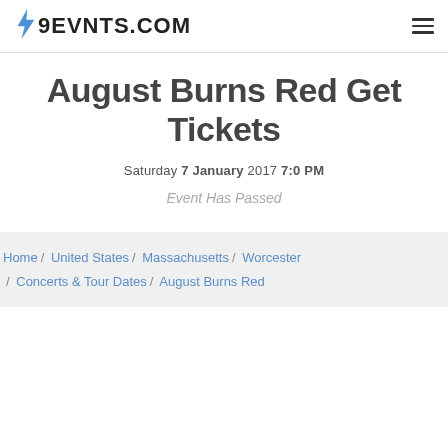⚡ 9EVNTS.COM
August Burns Red Get Tickets
Saturday 7 January 2017 7:0 PM
Event Has Passed
Home / United States / Massachusetts / Worcester / Concerts & Tour Dates / August Burns Red